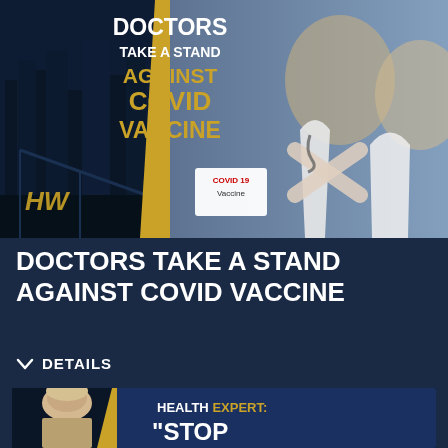[Figure (screenshot): Thumbnail image showing two doctors in white coats making an X sign with their arms, with text overlay reading 'DOCTORS TAKE A STAND AGAINST COVID VACCINE' and a COVID 19 Vaccine bottle visible. HW logo bottom left.]
DOCTORS TAKE A STAND AGAINST COVID VACCINE
DETAILS
[Figure (screenshot): Partial thumbnail showing a person and text overlay reading 'HEALTH EXPERT: "STOP']